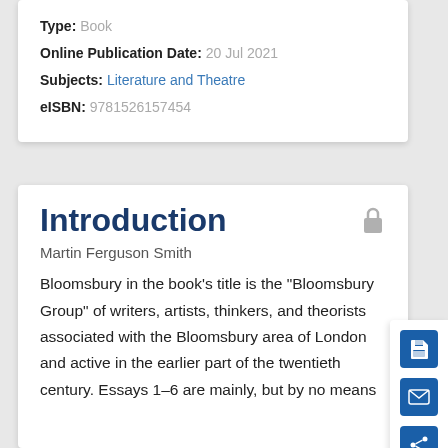Type: Book
Online Publication Date: 20 Jul 2021
Subjects: Literature and Theatre
eISBN: 9781526157454
Introduction
Martin Ferguson Smith
Bloomsbury in the book’s title is the “Bloomsbury Group” of writers, artists, thinkers, and theorists associated with the Bloomsbury area of London and active in the earlier part of the twentieth century. Essays 1–6 are mainly, but by no means